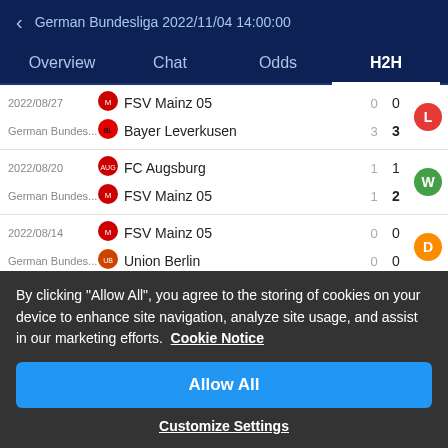German Bundesliga 2022/11/04 14:00:00
Overview | Chat | Odds | H2H
| Date/League | Team | HT | FT | Result |
| --- | --- | --- | --- | --- |
| 2022/08/27
German Bundes... | FSV Mainz 05 / Bayer Leverkusen | 0 / 3 | 0 / 3 | L |
| 2022/08/20
German Bundes... | FC Augsburg / FSV Mainz 05 | 1 / 1 | 1 / 2 | W |
| 2022/08/14
German Bundes... | FSV Mainz 05 / Union Berlin | 0 / 0 | 0 / 0 | D |
| 2022/08/06 | VfL Bochum | 1 | 1 |  |
By clicking "Allow All", you agree to the storing of cookies on your device to enhance site navigation, analyze site usage, and assist in our marketing efforts. Cookie Notice
Allow All
Customize Settings